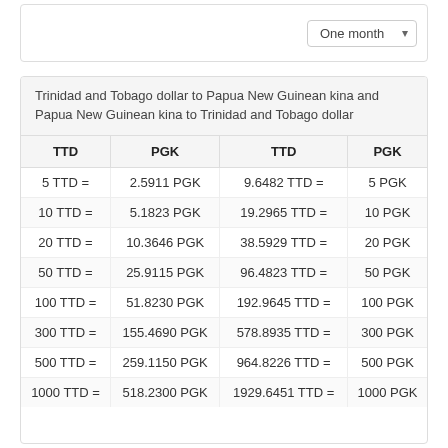One month
Trinidad and Tobago dollar to Papua New Guinean kina and Papua New Guinean kina to Trinidad and Tobago dollar
| TTD | PGK | TTD | PGK |
| --- | --- | --- | --- |
| 5 TTD = | 2.5911 PGK | 9.6482 TTD = | 5 PGK |
| 10 TTD = | 5.1823 PGK | 19.2965 TTD = | 10 PGK |
| 20 TTD = | 10.3646 PGK | 38.5929 TTD = | 20 PGK |
| 50 TTD = | 25.9115 PGK | 96.4823 TTD = | 50 PGK |
| 100 TTD = | 51.8230 PGK | 192.9645 TTD = | 100 PGK |
| 300 TTD = | 155.4690 PGK | 578.8935 TTD = | 300 PGK |
| 500 TTD = | 259.1150 PGK | 964.8226 TTD = | 500 PGK |
| 1000 TTD = | 518.2300 PGK | 1929.6451 TTD = | 1000 PGK |